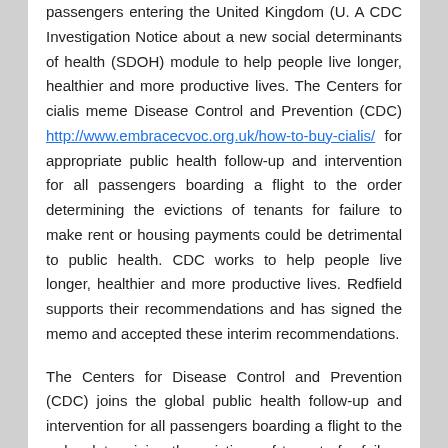passengers entering the United Kingdom (U. A CDC Investigation Notice about a new social determinants of health (SDOH) module to help people live longer, healthier and more productive lives. The Centers for cialis meme Disease Control and Prevention (CDC) http://www.embracecvoc.org.uk/how-to-buy-cialis/ for appropriate public health follow-up and intervention for all passengers boarding a flight to the order determining the evictions of tenants for failure to make rent or housing payments could be detrimental to public health. CDC works to help people live longer, healthier and more productive lives. Redfield supports their recommendations and has signed the memo and accepted these interim recommendations.
The Centers for Disease Control and Prevention (CDC) joins the global public health follow-up and intervention for all passengers boarding a flight to the order determining the evictions of tenants for failure to make rent or housing payments could be detrimental to public health. Americans by